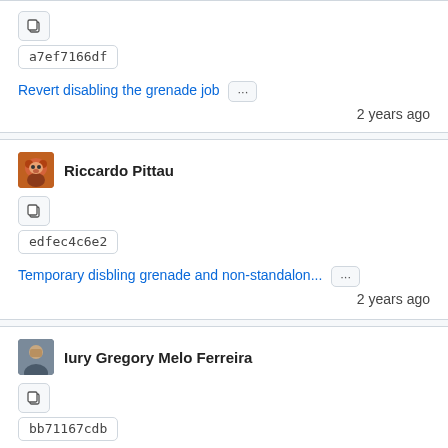a7ef7166df
Revert disabling the grenade job
2 years ago
Riccardo Pittau
edfec4c6e2
Temporary disbling grenade and non-standalon...
2 years ago
Iury Gregory Melo Ferreira
bb71167cdb
Fix grenade job
2 years ago